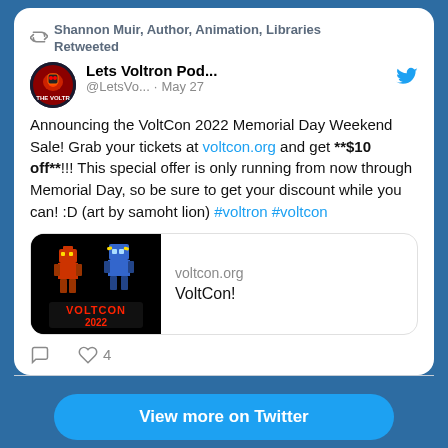Shannon Muir, Author, Animation, Libraries Retweeted
Lets Voltron Pod... @LetsVo... · May 27
Announcing the VoltCon 2022 Memorial Day Weekend Sale! Grab your tickets at voltcon.org and get **$10 off**!!! This special offer is only running from now through Memorial Day, so be sure to get your discount while you can! :D (art by samoht lion) #voltron #voltcon
[Figure (screenshot): VoltCon 2022 logo with robot characters on black background]
voltcon.org
VoltCon!
4 likes
View more on Twitter
Learn more about privacy on Twitter